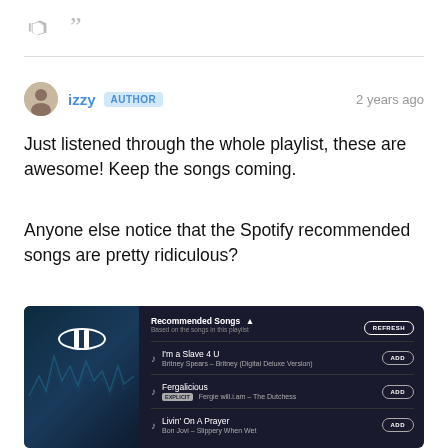[Figure (infographic): Comment reply UI with thumbs up and quote icons at the top]
izzy AUTHOR  2 years ago
Just listened through the whole playlist, these are awesome! Keep the songs coming.
Anyone else notice that the Spotify recommended songs are pretty ridiculous?
[Figure (screenshot): Spotify Recommended Songs panel showing 'I'm a Slave 4 U' by Britney Spears, 'Fergalicious' by Fergie, and 'Livin' On A Prayer' by Bon Jovi, with ADD buttons and a REFRESH button. Left side shows Data Analytics Anthems playlist art with a pause button.]